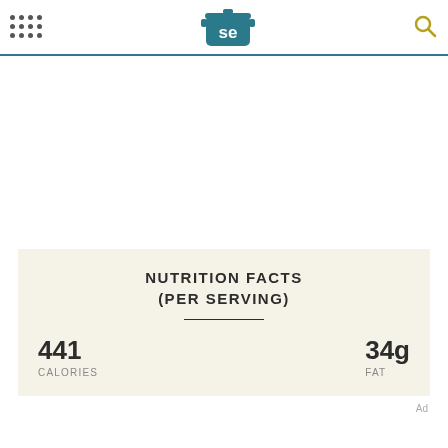SE (Serious Eats) navigation header with logo and search icon
NUTRITION FACTS
(PER SERVING)
| CALORIES | FAT |
| --- | --- |
| 441 | 34g |
Ad